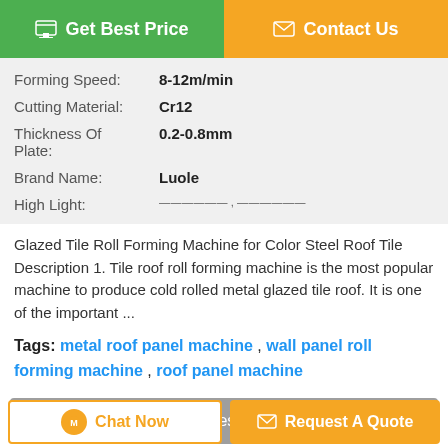[Figure (other): Two action buttons: green 'Get Best Price' and orange 'Contact Us']
| Forming Speed: | 8-12m/min |
| Cutting Material: | Cr12 |
| Thickness Of Plate: | 0.2-0.8mm |
| Brand Name: | Luole |
| High Light: |  |
Glazed Tile Roll Forming Machine for Color Steel Roof Tile Description 1. Tile roof roll forming machine is the most popular machine to produce cold rolled metal glazed tile roof. It is one of the important ...
Tags: metal roof panel machine , wall panel roll forming machine , roof panel machine
Product Description >
Get the Best Price for
[Figure (other): Bottom action buttons: 'Chat Now' and 'Request A Quote']